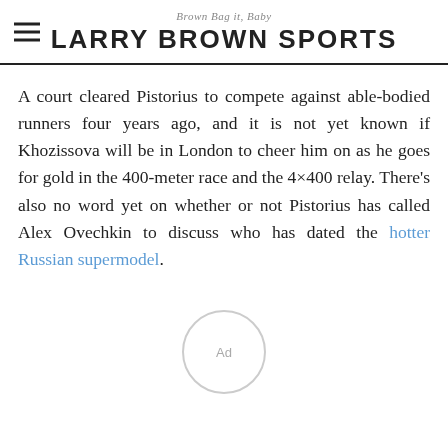Brown Bag it, Baby
LARRY BROWN SPORTS
A court cleared Pistorius to compete against able-bodied runners four years ago, and it is not yet known if Khozissova will be in London to cheer him on as he goes for gold in the 400-meter race and the 4×400 relay. There's also no word yet on whether or not Pistorius has called Alex Ovechkin to discuss who has dated the hotter Russian supermodel.
[Figure (other): Circular ad/loading placeholder with 'Ad' text]